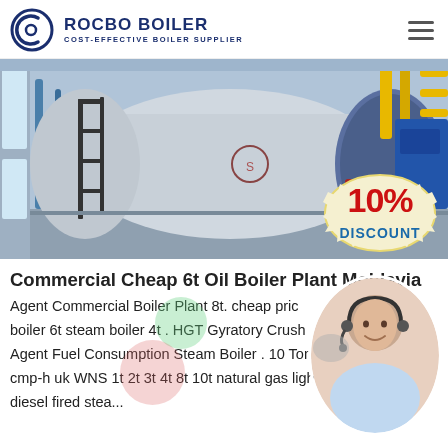[Figure (logo): Rocbo Boiler logo with circular icon and text ROCBO BOILER, COST-EFFECTIVE BOILER SUPPLIER]
[Figure (photo): Industrial boiler plant interior with large blue cylindrical boiler, pipes and yellow railings, with a 10% DISCOUNT badge overlay]
Commercial Cheap 6t Oil Boiler Plant Moldavia
Agent Commercial Boiler Plant 8t. cheap price boiler 6t steam boiler 4t . HGT Gyratory Crush Agent Fuel Consumption Steam Boiler . 10 Ton C cmp-h uk WNS 1t 2t 3t 4t 8t 10t natural gas light diesel fired stea...